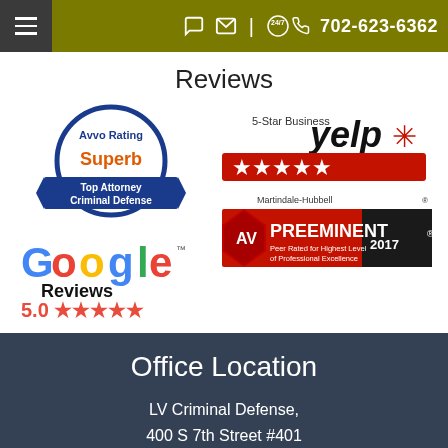702-623-6362
Reviews
[Figure (logo): Avvo Rating Superb - Top Attorney Criminal Defense badge (circular blue badge)]
[Figure (logo): Yelp 5-Star Business badge with red star rating bar]
[Figure (logo): Google Reviews 5.0 stars logo]
[Figure (logo): Martindale-Hubbell AV Preeminent 2017 - Peer Rated for Highest Level of Professional Excellence badge]
Office Location
LV Criminal Defense, 400 S 7th Street #401